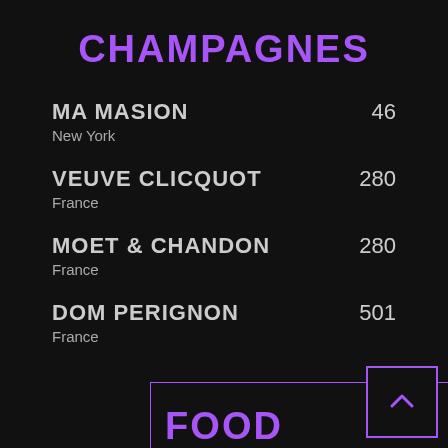CHAMPAGNES
MA MASION  46
New York
VEUVE CLICQUOT  280
France
MOET & CHANDON  280
France
DOM PERIGNON  501
France
FOOD